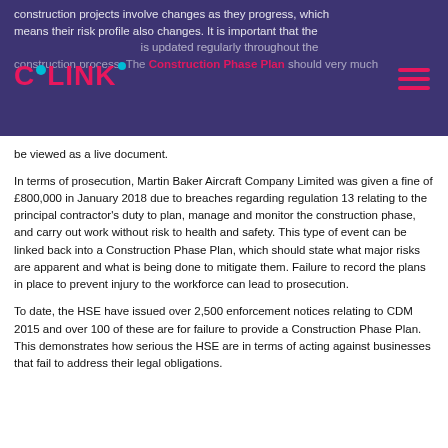construction projects involve changes as they progress, which means their risk profile also changes. It is important that the Construction Phase Plan is updated regularly throughout the construction process. The Construction Phase Plan should very much be viewed as a live document.
In terms of prosecution, Martin Baker Aircraft Company Limited was given a fine of £800,000 in January 2018 due to breaches regarding regulation 13 relating to the principal contractor's duty to plan, manage and monitor the construction phase, and carry out work without risk to health and safety. This type of event can be linked back into a Construction Phase Plan, which should state what major risks are apparent and what is being done to mitigate them. Failure to record the plans in place to prevent injury to the workforce can lead to prosecution.
To date, the HSE have issued over 2,500 enforcement notices relating to CDM 2015 and over 100 of these are for failure to provide a Construction Phase Plan. This demonstrates how serious the HSE are in terms of acting against businesses that fail to address their legal obligations.